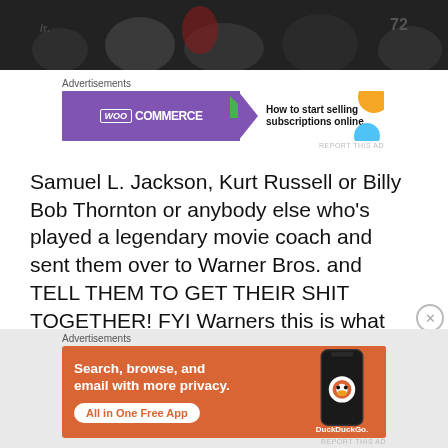[Figure (photo): Dark photo of people/crowd, possibly sports related, with number jersey visible]
[Figure (other): WooCommerce advertisement banner: 'How to start selling subscriptions online']
Samuel L. Jackson, Kurt Russell or Billy Bob Thornton or anybody else who's played a legendary movie coach and sent them over to Warner Bros. and TELL THEM TO GET THEIR SHIT TOGETHER! FYI Warners this is what shit together
[Figure (other): DuckDuckGo advertisement: 'Search, browse, and email with more privacy. All in One Free App' with phone mockup and DuckDuckGo logo]